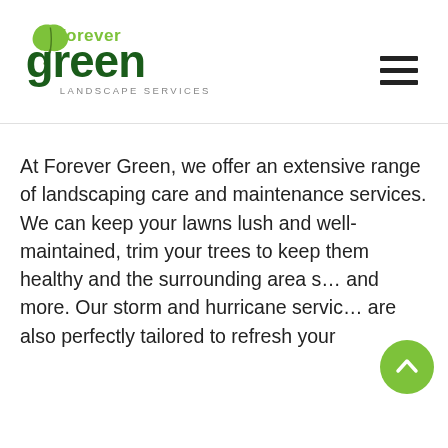[Figure (logo): Forever Green Landscape Services logo — green leaf and stylized text 'forever green' with 'LANDSCAPE SERVICES' below]
At Forever Green, we offer an extensive range of landscaping care and maintenance services. We can keep your lawns lush and well-maintained, trim your trees to keep them healthy and the surrounding area s… and more. Our storm and hurricane servic… are also perfectly tailored to refresh your